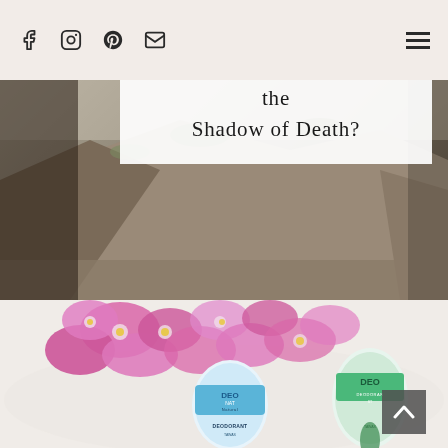Navigation icons: Facebook, Instagram, Pinterest, Email, Menu
Wadi Qelt: The Valley of the Shadow of Death?
[Figure (photo): Top portion of a landscape photo showing rocky terrain with vegetation, partially obscured by the title overlay box]
[Figure (photo): Photo of two Deonat Natural Mineral Deodorant products (one blue, one green) placed on a white fluffy surface with pink orchid flowers arranged above them]